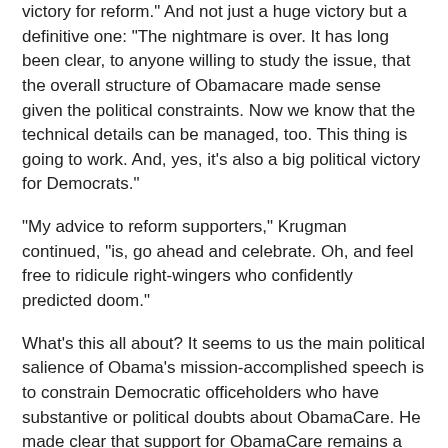victory for reform." And not just a huge victory but a definitive one: "The nightmare is over. It has long been clear, to anyone willing to study the issue, that the overall structure of Obamacare made sense given the political constraints. Now we know that the technical details can be managed, too. This thing is going to work. And, yes, it's also a big political victory for Democrats."
"My advice to reform supporters," Krugman continued, "is, go ahead and celebrate. Oh, and feel free to ridicule right-wingers who confidently predicted doom."
What's this all about? It seems to us the main political salience of Obama's mission-accomplished speech is to constrain Democratic officeholders who have substantive or political doubts about ObamaCare. He made clear that support for ObamaCare remains a test of loyalty for Democrats; those who deviate will be punished by the party's leadership and its political base. Even the Senate's most vulnerable incumbent fell into line, as The Weekly Standard's Michael Warren notes:
Arkansas senator Mark Pryor, a Democrat up for reelection this year, told local [Little Rock] station KARN. He said he...